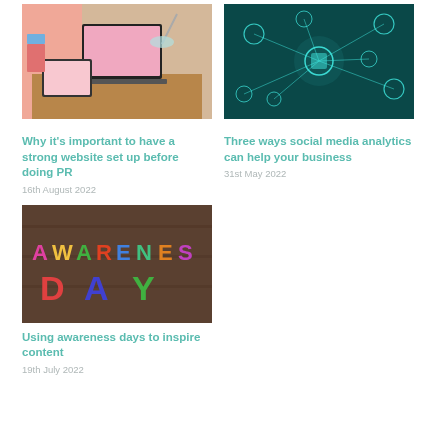[Figure (photo): Photo of a laptop on a desk with a tablet and lamp on a pink/wood background]
[Figure (photo): Digital network connectivity concept with glowing teal nodes and connections on dark background]
Why it's important to have a strong website set up before doing PR
16th August 2022
Three ways social media analytics can help your business
31st May 2022
[Figure (photo): Colorful magnetic letters spelling AWARENESS DAY on a wooden surface]
Using awareness days to inspire content
19th July 2022